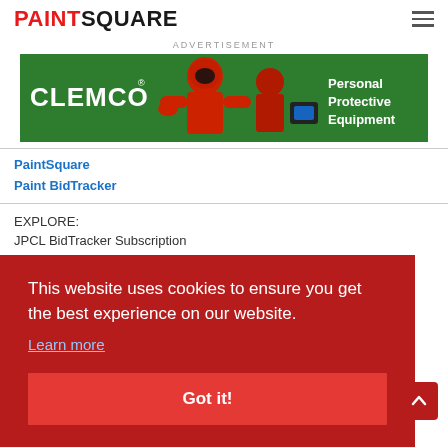PAINTSQUARE
ADVERTISEMENT
[Figure (illustration): CLEMCO Personal Protective Equipment advertisement banner with green background showing worker in red protective gear and helmet.]
PaintSquare
Paint BidTracker
EXPLORE:
This website uses cookies to ensure you get the best experience on our website.
Learn more
Got it!
JPCL Media Kit